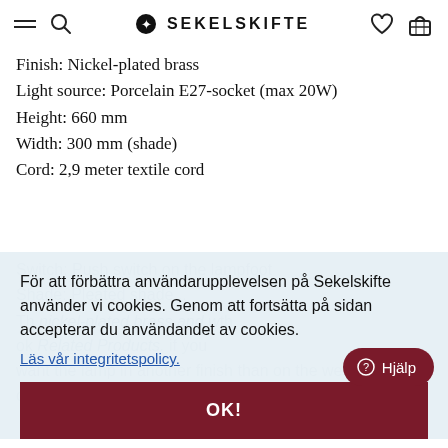SEKELSKIFTE
Finish: Nickel-plated brass
Light source: Porcelain E27-socket (max 20W)
Height: 660 mm
Width: 300 mm (shade)
Cord: 2,9 meter textile cord
Switch: Push switch on the lampfoot
Shade: Pleated shade...
För att förbättra användarupplevelsen på Sekelskifte använder vi cookies. Genom att fortsätta på sidan accepterar du användandet av cookies.
Läs vår integritetspolicy.
Th... nickel-plated brass and with ok... Related Products. If you want the lamp in another finish than on the web...
contact us via email or p... for price and to or...
OK!
Hjälp